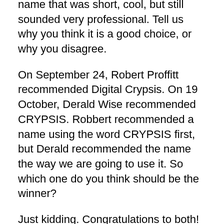name that was short, cool, but still sounded very professional. Tell us why you think it is a good choice, or why you disagree.
On September 24, Robert Proffitt recommended Digital Crypsis. On 19 October, Derald Wise recommended CRYPSIS. Robbert recommended a name using the word CRYPSIS first, but Derald recommended the name the way we are going to use it. So which one do you think should be the winner?
Just kidding. Congratulations to both! Robert and Derald, please contact us and let us know what firearm you will each be sending for a new CRYPSIS finish.
For the rest of you, because you obviously spent a lot of time working on and thinking about this, it is only fair that we give a 15% discount on a finish to everyone who